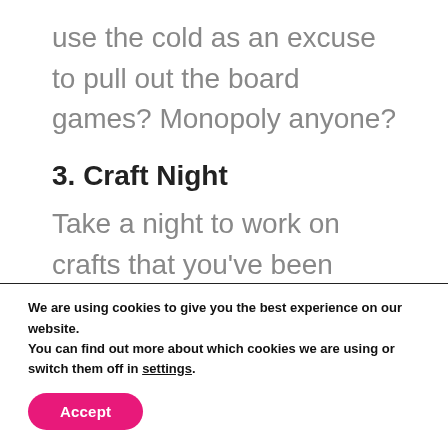use the cold as an excuse to pull out the board games? Monopoly anyone?
3. Craft Night
Take a night to work on crafts that you've been planning to do. This is the perfect time to pull up your Pinterest boards, find something to make, and then craft away! You can
We are using cookies to give you the best experience on our website.
You can find out more about which cookies we are using or switch them off in settings.